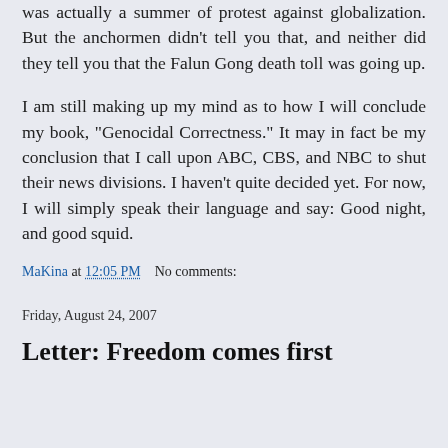was actually a summer of protest against globalization. But the anchormen didn't tell you that, and neither did they tell you that the Falun Gong death toll was going up.
I am still making up my mind as to how I will conclude my book, "Genocidal Correctness." It may in fact be my conclusion that I call upon ABC, CBS, and NBC to shut their news divisions. I haven't quite decided yet. For now, I will simply speak their language and say: Good night, and good squid.
MaKina at 12:05 PM    No comments:
Friday, August 24, 2007
Letter: Freedom comes first